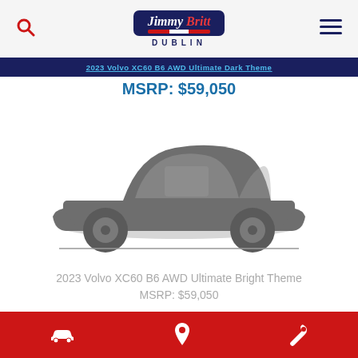Jimmy Britt Dublin
2023 Volvo XC60 B6 AWD Ultimate Dark Theme
MSRP: $59,050
[Figure (illustration): Gray silhouette side-view illustration of a 2023 Volvo XC60 SUV]
2023 Volvo XC60 B6 AWD Ultimate Bright Theme
MSRP: $59,050
Car icon, Location pin icon, Wrench icon